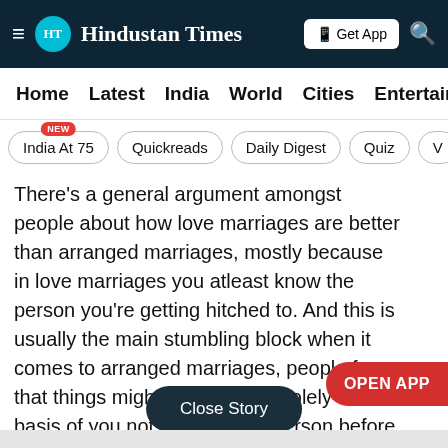Hindustan Times
Home  Latest  India  World  Cities  Entertainment
India At 75  Quickreads  Daily Digest  Quiz
There's a general argument amongst people about how love marriages are better than arranged marriages, mostly because in love marriages you atleast know the person you're getting hitched to. And this is usually the main stumbling block when it comes to arranged marriages, people fear that things might not work out solely on the basis of you not knowing the person before you get married. These notions have been instilled in our psyche by the society we grew up in.
OPEN APP
Close Story